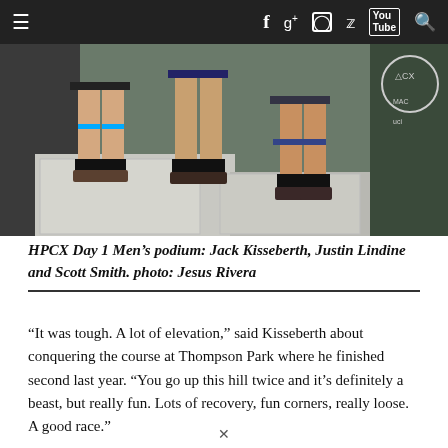≡  f  g+  ○  🐦  YouTube  🔍
[Figure (photo): Podium photo showing legs and feet of three cyclists standing on podium blocks at a cyclocross race, with banners in the background including CX, MAC, and UCI logos.]
HPCX Day 1 Men's podium: Jack Kisseberth, Justin Lindine and Scott Smith. photo: Jesus Rivera
“It was tough. A lot of elevation,” said Kisseberth about conquering the course at Thompson Park where he finished second last year. “You go up this hill twice and it’s definitely a beast, but really fun. Lots of recovery, fun corners, really loose. A good race.”